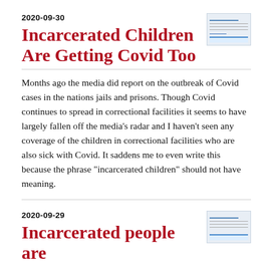2020-09-30
Incarcerated Children Are Getting Covid Too
Months ago the media did report on the outbreak of Covid cases in the nations jails and prisons. Though Covid continues to spread in correctional facilities it seems to have largely fallen off the media's radar and I haven't seen any coverage of the children in correctional facilities who are also sick with Covid. It saddens me to even write this because the phrase "incarcerated children" should not have meaning.
2020-09-29
Incarcerated people are